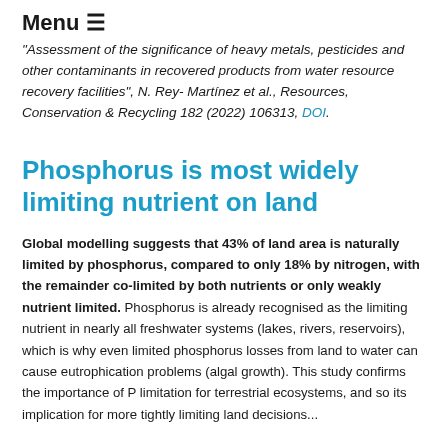Menu ≡
"Assessment of the significance of heavy metals, pesticides and other contaminants in recovered products from water resource recovery facilities", N. Rey- Martínez et al., Resources, Conservation & Recycling 182 (2022) 106313, DOI.
Phosphorus is most widely limiting nutrient on land
Global modelling suggests that 43% of land area is naturally limited by phosphorus, compared to only 18% by nitrogen, with the remainder co-limited by both nutrients or only weakly nutrient limited. Phosphorus is already recognised as the limiting nutrient in nearly all freshwater systems (lakes, rivers, reservoirs), which is why even limited phosphorus losses from land to water can cause eutrophication problems (algal growth). This study confirms the importance of P limitation for terrestrial ecosystems, and so its implication for more tightly limiting land decisions...